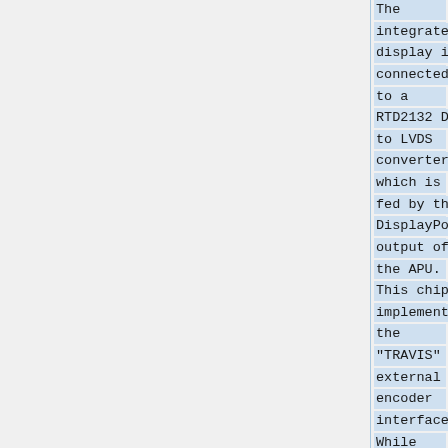The integrated display is connected to a RTD2132 DP to LVDS converter, which is fed by the DisplayPort output of the APU. This chip implements the "TRAVIS" external encoder interface. While generated